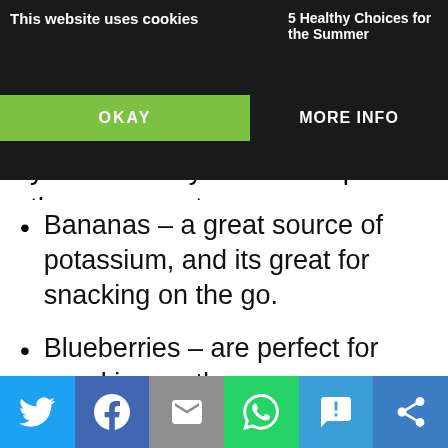This website uses cookies | 5 Healthy Choices for the Summer | OKAY | MORE INFO
year round try the dried apricots they are great.
Bananas – a great source of potassium, and its great for snacking on the go.
Blueberries – are perfect for snacking on the go.
Broccoli – you can serve it raw or steamed. If you're having a hard time
Social share buttons: Twitter, Facebook, Email, WhatsApp, SMS, Share